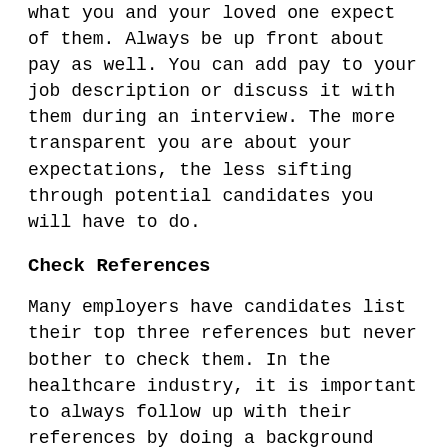what you and your loved one expect of them. Always be up front about pay as well. You can add pay to your job description or discuss it with them during an interview. The more transparent you are about your expectations, the less sifting through potential candidates you will have to do.
Check References
Many employers have candidates list their top three references but never bother to check them. In the healthcare industry, it is important to always follow up with their references by doing a background check. When hiring caregivers, ask their references about how they did in their previous position, if they would hire them again, and if they would recommend them for the job at hand. Checking for a criminal record is always a good idea, too.
Conduct Multiple Interviews
Conducting three interviews per person when